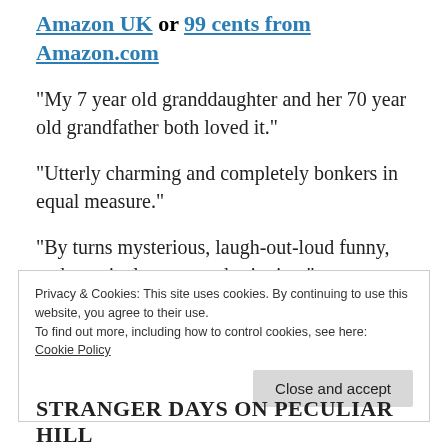Amazon UK or 99 cents from Amazon.com
“My 7 year old granddaughter and her 70 year old grandfather both loved it.”
“Utterly charming and completely bonkers in equal measure.”
“By turns mysterious, laugh-out-loud funny, and genuinely tense and gripping.”
“Brilliant book.”
Privacy & Cookies: This site uses cookies. By continuing to use this website, you agree to their use.
To find out more, including how to control cookies, see here: Cookie Policy
Close and accept
STRANGER DAYS ON PECULIAR HILL